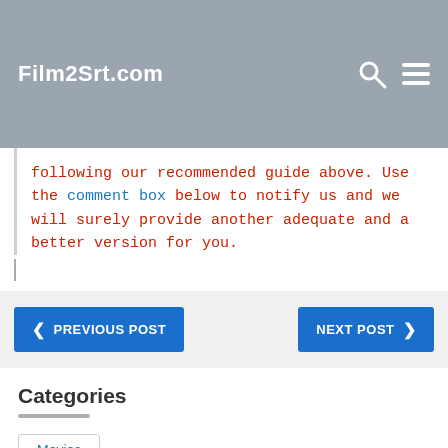Film2Srt.com
following our recommended guide above. Use the comment box below to notify us and we will surely provide another adequate and a better version for you.
PREVIOUS POST   NEXT POST
Categories
Movies